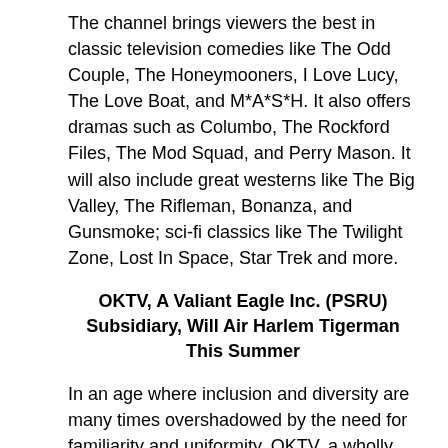The channel brings viewers the best in classic television comedies like The Odd Couple, The Honeymooners, I Love Lucy, The Love Boat, and M*A*S*H. It also offers dramas such as Columbo, The Rockford Files, The Mod Squad, and Perry Mason. It will also include great westerns like The Big Valley, The Rifleman, Bonanza, and Gunsmoke; sci-fi classics like The Twilight Zone, Lost In Space, Star Trek and more.
OKTV, A Valiant Eagle Inc. (PSRU) Subsidiary, Will Air Harlem Tigerman This Summer
In an age where inclusion and diversity are many times overshadowed by the need for familiarity and uniformity, OKTV, a wholly owned subsidiary of Valiant Eagle Inc. (PSRU), will soon air Harlem Tigerman.
It could appear to be ominous when the pursuit of a